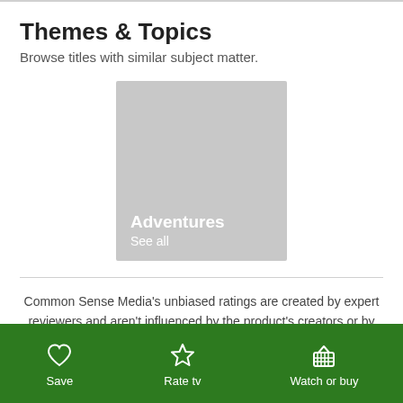Themes & Topics
Browse titles with similar subject matter.
[Figure (other): Gray placeholder card with white text 'Adventures' and 'See all']
Common Sense Media's unbiased ratings are created by expert reviewers and aren't influenced by the product's creators or by
Save   Rate tv   Watch or buy